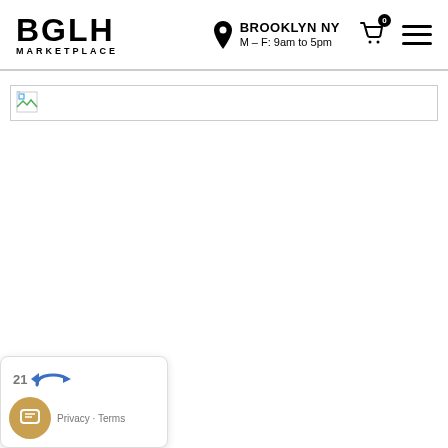BGLH MARKETPLACE — BROOKLYN NY, M–F: 9am to 5pm
[Figure (screenshot): Broken image placeholder in a bordered box]
[Figure (infographic): Chat widget overlay in bottom-left corner showing notification badge '21', a fish icon, a gold circular chat button with message icon, and 'Privacy Terms' text links]